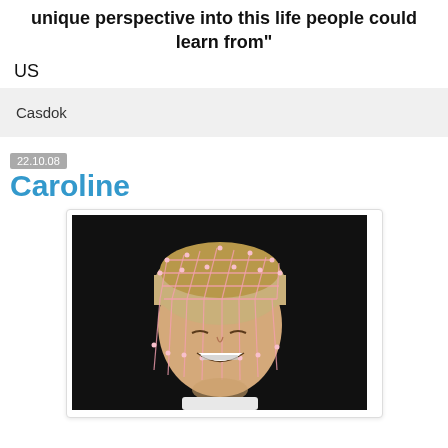unique perspective into this life people could learn from"
US
Casdok
22.10.08
Caroline
[Figure (photo): Young girl smiling, wearing a pink beaded net/hair accessory on her head, against a dark background]